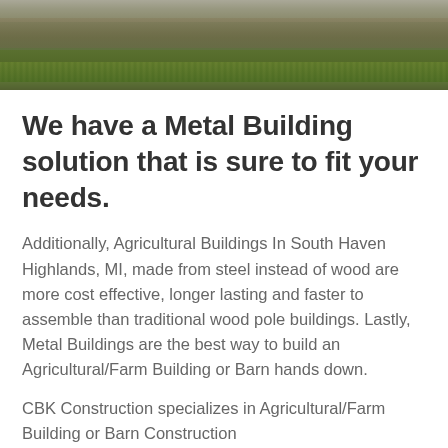[Figure (photo): Outdoor landscape photo showing a grassy field or yard area with earth and greenery, viewed from slightly above.]
We have a Metal Building solution that is sure to fit your needs.
Additionally, Agricultural Buildings In South Haven Highlands, MI, made from steel instead of wood are more cost effective, longer lasting and faster to assemble than traditional wood pole buildings. Lastly, Metal Buildings are the best way to build an Agricultural/Farm Building or Barn hands down.
CBK Construction specializes in Agricultural/Farm Building or Barn Construction